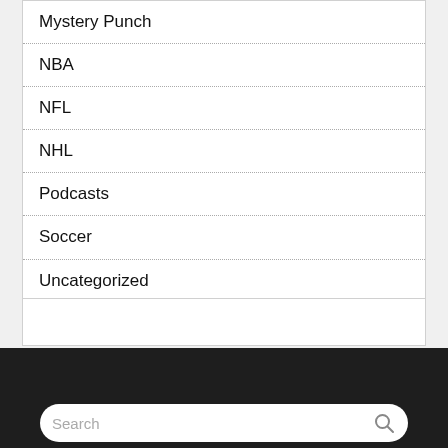Mystery Punch
NBA
NFL
NHL
Podcasts
Soccer
Uncategorized
Search